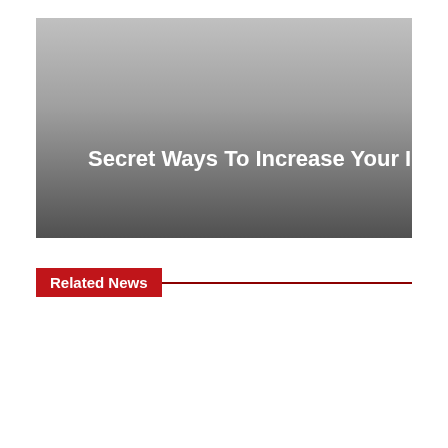[Figure (photo): A gradient gray banner image, lighter at top and darker gray at bottom, with white bold text overlaid reading: Secret Ways To Increase Your Intelligence]
Related News